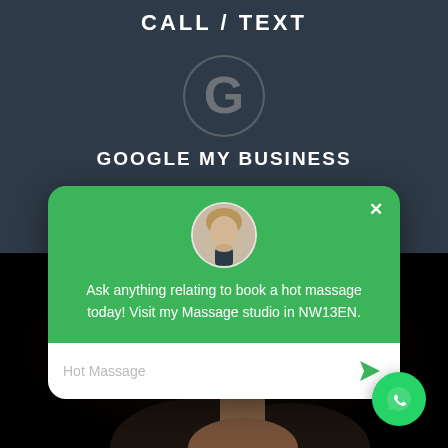CALL / TEXT
[Figure (logo): Google 'G' logo icon in muted colors on dark background]
GOOGLE MY BUSINESS
[Figure (screenshot): Chat popup widget with green header showing a person avatar, message 'Ask anything relating to book a hot massage today! Visit my Massage studio in NW13EN.' and input field with placeholder 'Hot Massage' and send arrow button]
[Figure (photo): Partial photo of a person's upper body/shoulder area against dark background]
[Figure (logo): WhatsApp icon button (green circle with phone handset icon) in bottom right corner]